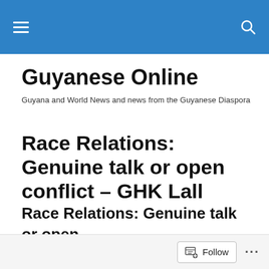Guyanese Online — navigation header bar
Guyanese Online
Guyana and World News and news from the Guyanese Diaspora
Race Relations: Genuine talk or open conflict – GHK Lall
Race Relations: Genuine talk or open conflict
Follow ...